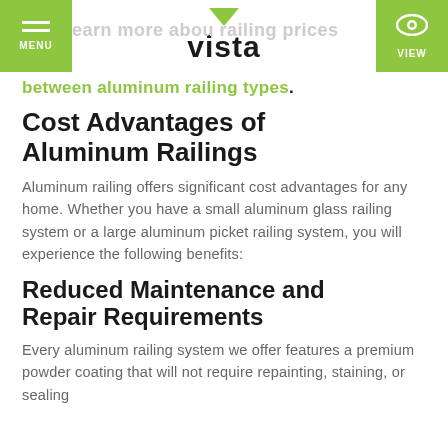MENU | vista | VIEW
between aluminum railing types.
Cost Advantages of Aluminum Railings
Aluminum railing offers significant cost advantages for any home. Whether you have a small aluminum glass railing system or a large aluminum picket railing system, you will experience the following benefits:
Reduced Maintenance and Repair Requirements
Every aluminum railing system we offer features a premium powder coating that will not require repainting, staining, or sealing